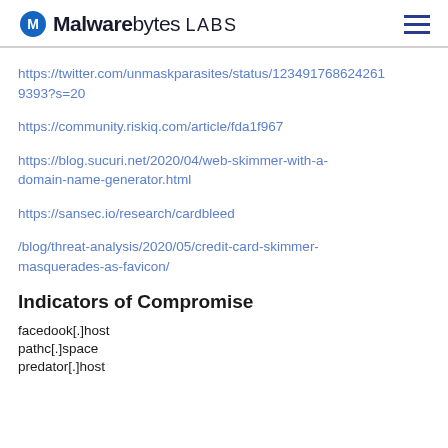Malwarebytes LABS
https://twitter.com/unmaskparasites/status/123491768624261 9393?s=20
https://community.riskiq.com/article/fda1f967
https://blog.sucuri.net/2020/04/web-skimmer-with-a-domain-name-generator.html
https://sansec.io/research/cardbleed
/blog/threat-analysis/2020/05/credit-card-skimmer-masquerades-as-favicon/
Indicators of Compromise
facedook[.]host
pathc[.]space
predator[.]host